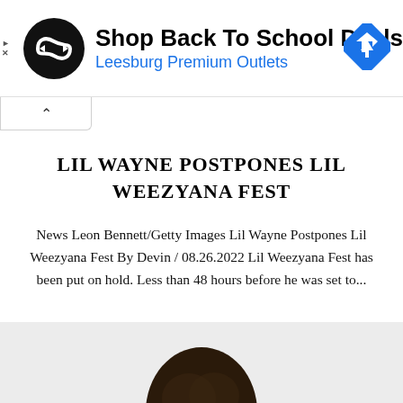[Figure (other): Advertisement banner: circular black logo with arrow/infinity symbol, text 'Shop Back To School Deals' in bold black and 'Leesburg Premium Outlets' in blue, blue diamond navigation arrow icon on right. Play and X icons on far left.]
LIL WAYNE POSTPONES LIL WEEZYANA FEST
News Leon Bennett/Getty Images Lil Wayne Postpones Lil Weezyana Fest By Devin / 08.26.2022 Lil Weezyana Fest has been put on hold. Less than 48 hours before he was set to...
[Figure (photo): Top of a person's head with dark curly hair visible at the bottom of the page.]